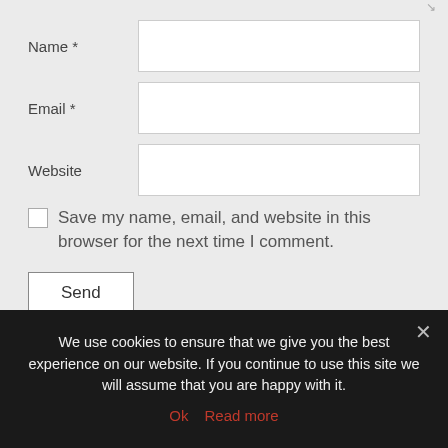Name *
Email *
Website
Save my name, email, and website in this browser for the next time I comment.
Send
We use cookies to ensure that we give you the best experience on our website. If you continue to use this site we will assume that you are happy with it.
Ok
Read more